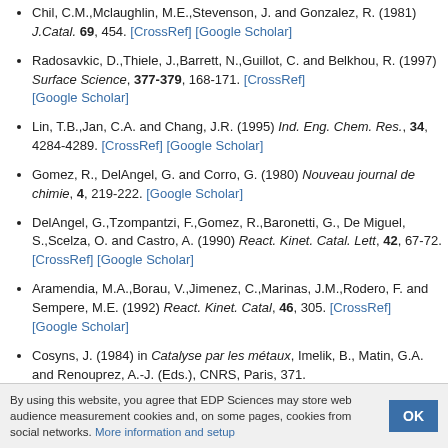Chil, C.M.,Mclaughlin, M.E.,Stevenson, J. and Gonzalez, R. (1981) J.Catal. 69, 454. [CrossRef] [Google Scholar]
Radosavkic, D.,Thiele, J.,Barrett, N.,Guillot, C. and Belkhou, R. (1997) Surface Science, 377-379, 168-171. [CrossRef] [Google Scholar]
Lin, T.B.,Jan, C.A. and Chang, J.R. (1995) Ind. Eng. Chem. Res., 34, 4284-4289. [CrossRef] [Google Scholar]
Gomez, R., DelAngel, G. and Corro, G. (1980) Nouveau journal de chimie, 4, 219-222. [Google Scholar]
DelAngel, G.,Tzompantzi, F.,Gomez, R.,Baronetti, G., De Miguel, S.,Scelza, O. and Castro, A. (1990) React. Kinet. Catal. Lett, 42, 67-72. [CrossRef] [Google Scholar]
Aramendia, M.A.,Borau, V.,Jimenez, C.,Marinas, J.M.,Rodero, F. and Sempere, M.E. (1992) React. Kinet. Catal, 46, 305. [CrossRef] [Google Scholar]
Cosyns, J. (1984) in Catalyse par les métaux, Imelik, B., Matin, G.A. and Renouprez, A.-J. (Eds.), CNRS, Paris, 371. [Google Scholar]
By using this website, you agree that EDP Sciences may store web audience measurement cookies and, on some pages, cookies from social networks. More information and setup